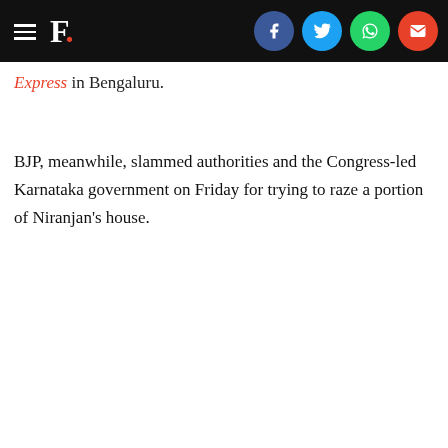F. [navbar with social icons: Facebook, Twitter, WhatsApp, Email]
Express in Bengaluru.
BJP, meanwhile, slammed authorities and the Congress-led Karnataka government on Friday for trying to raze a portion of Niranjan's house.